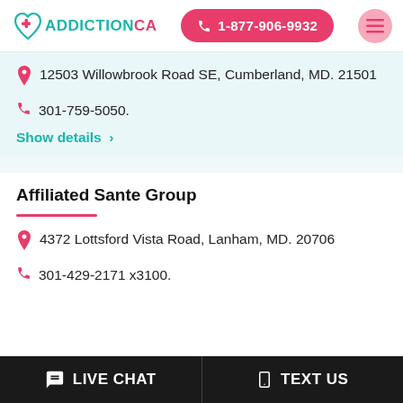AddictionCA | 1-877-906-9932
12503 Willowbrook Road SE, Cumberland, MD. 21501
301-759-5050.
Show details >
Affiliated Sante Group
4372 Lottsford Vista Road, Lanham, MD. 20706
301-429-2171 x3100.
LIVE CHAT | TEXT US